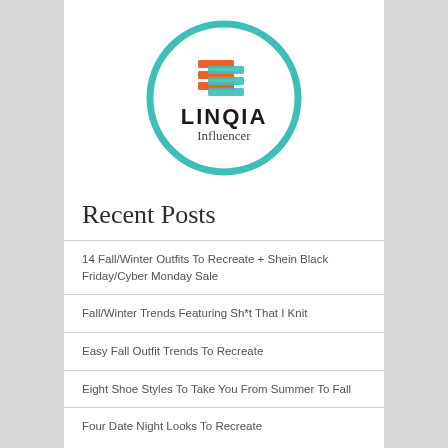[Figure (logo): LINQIA Influencer logo — circular teal border with orange and teal shopping cart icon above bold text LINQIA and italic text Influencer]
Recent Posts
14 Fall/Winter Outfits To Recreate + Shein Black Friday/Cyber Monday Sale
Fall/Winter Trends Featuring Sh*t That I Knit
Easy Fall Outfit Trends To Recreate
Eight Shoe Styles To Take You From Summer To Fall
Four Date Night Looks To Recreate